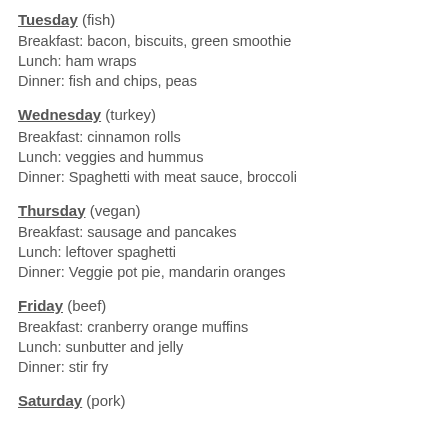Tuesday (fish)
Breakfast: bacon, biscuits, green smoothie
Lunch: ham wraps
Dinner: fish and chips, peas
Wednesday (turkey)
Breakfast: cinnamon rolls
Lunch: veggies and hummus
Dinner: Spaghetti with meat sauce, broccoli
Thursday (vegan)
Breakfast: sausage and pancakes
Lunch: leftover spaghetti
Dinner: Veggie pot pie, mandarin oranges
Friday (beef)
Breakfast: cranberry orange muffins
Lunch: sunbutter and jelly
Dinner: stir fry
Saturday (pork)